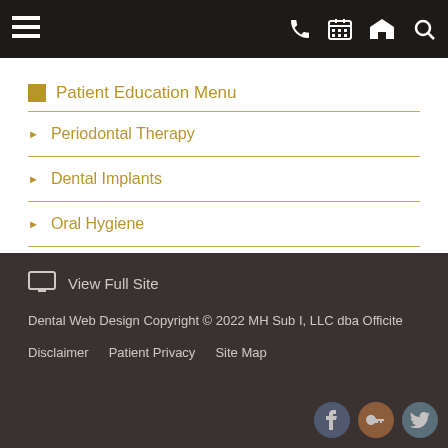Navigation bar with hamburger menu, phone, calendar, map, and search icons
Patient Education Menu
Periodontal Therapy
Dental Implants
Oral Hygiene
Gum Disease
View Full Site
Dental Web Design Copyright © 2022 MH Sub I, LLC dba Officite
Disclaimer   Patient Privacy   Site Map